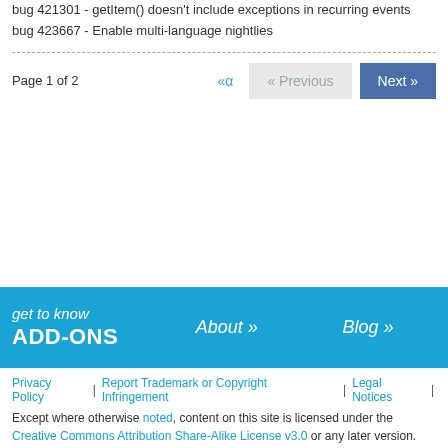bug 421301 - getItem() doesn't include exceptions in recurring events
bug 423667 - Enable multi-language nightlies
Page 1 of 2
get to know ADD-ONS   About »   Blog »
Privacy Policy | Report Trademark or Copyright Infringement | Legal Notices |
Except where otherwise noted, content on this site is licensed under the Creative Commons Attribution Share-Alike License v3.0 or any later version.